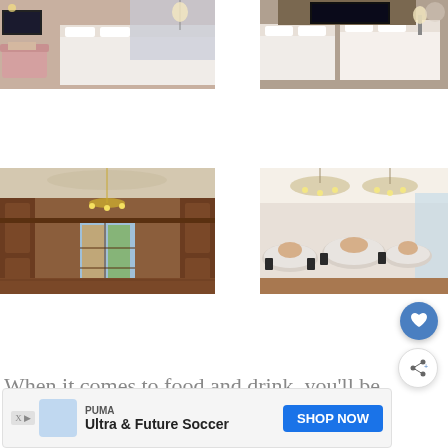[Figure (photo): Hotel bedroom with king bed, white bedding, pink sofa, TV, curtains, hardwood floor]
[Figure (photo): Hotel bedroom with two beds, white bedding, TV on dresser, neutral decor]
[Figure (photo): Grand hall interior with ornate ceiling, wood paneling, stained glass windows, chandelier, hardwood floor]
[Figure (photo): Modern event/banquet room with round tables, elegant floral centerpieces, circular chandeliers, hardwood floor]
When it comes to food and drink, you’ll be
[Figure (infographic): Advertisement banner: PUMA - Ultra & Future Soccer with SHOP NOW button]